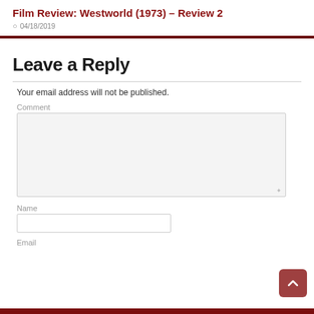Film Review: Westworld (1973) – Review 2
04/18/2019
Leave a Reply
Your email address will not be published.
Comment
Name
Email